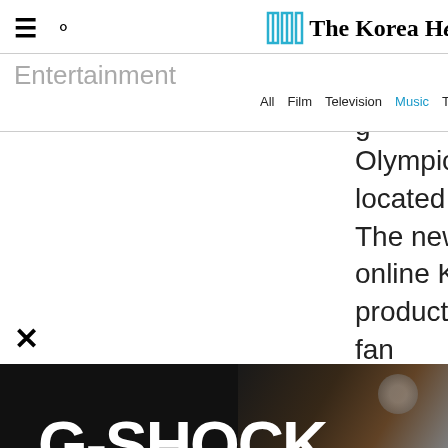≡ ○ The Korea Herald
Entertainment  All  Film  Television  Music  Theater  K-pop  esports
Olympic Park K-Art hall, located in Songpa-gu, Seoul. The new venue is tailored for online K-pop concerts, video productions and even virtual fan
[Figure (photo): G-SHOCK advertisement banner with bold white text on dark background with partial image of a watch]
G-SHOCK